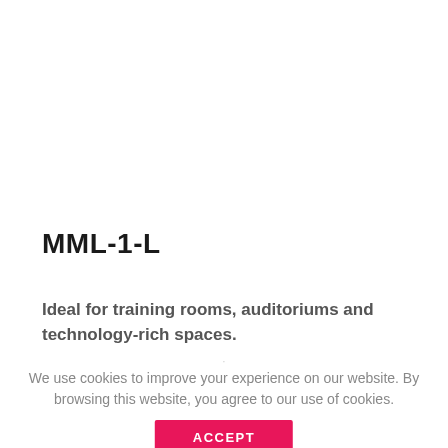MML-1-L
Ideal for training rooms, auditoriums and technology-rich spaces.
We use cookies to improve your experience on our website. By browsing this website, you agree to our use of cookies.
ACCEPT